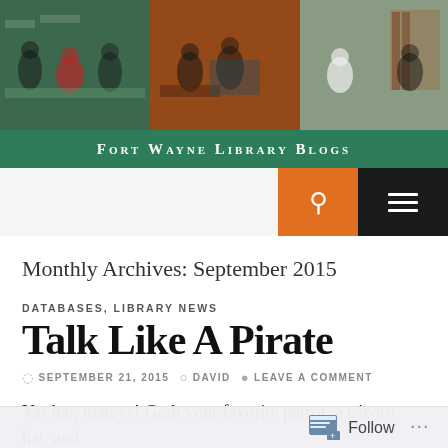[Figure (photo): Header photo of library interior with people working at computers and tables, colorful furniture and bookshelves visible in background]
Fort Wayne Library Blogs
Monthly Archives: September 2015
DATABASES, LIBRARY NEWS
TALK LIKE A PIRATE
SEPTEMBER 21, 2015  DAVID  LEAVE A COMMENT
Yar har, mateys! Grab your favorite parrot, a tricorn hat, and